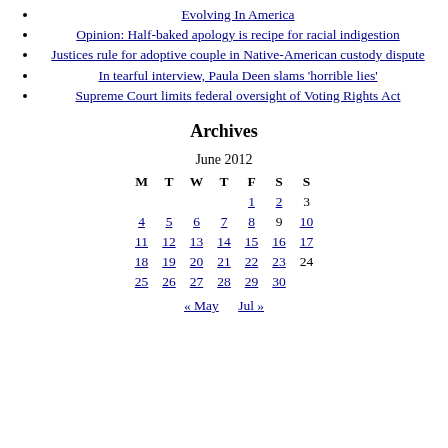Evolving In America
Opinion: Half-baked apology is recipe for racial indigestion
Justices rule for adoptive couple in Native-American custody dispute
In tearful interview, Paula Deen slams 'horrible lies'
Supreme Court limits federal oversight of Voting Rights Act
Archives
| M | T | W | T | F | S | S |
| --- | --- | --- | --- | --- | --- | --- |
|  |  |  |  | 1 | 2 | 3 |
| 4 | 5 | 6 | 7 | 8 | 9 | 10 |
| 11 | 12 | 13 | 14 | 15 | 16 | 17 |
| 18 | 19 | 20 | 21 | 22 | 23 | 24 |
| 25 | 26 | 27 | 28 | 29 | 30 |  |